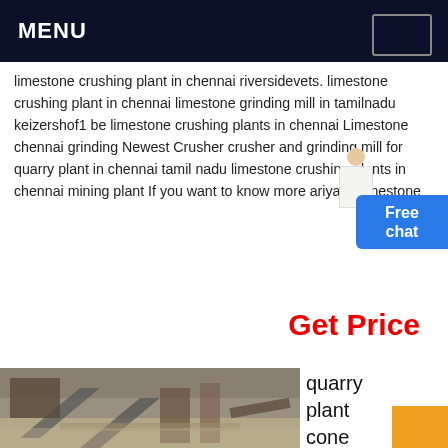MENU
limestone crushing plant in chennai riversidevets. limestone crushing plant in chennai limestone grinding mill in tamilnadu keizershof1 be limestone crushing plants in chennai Limestone chennai grinding Newest Crusher crusher and grinding mill for quarry plant in chennai tamil nadu limestone crushing plants in chennai mining plant If you want to know more ariyalur limestone
Get Price
[Figure (photo): Quarry plant with conveyor belts and heavy machinery]
quarry plant cone